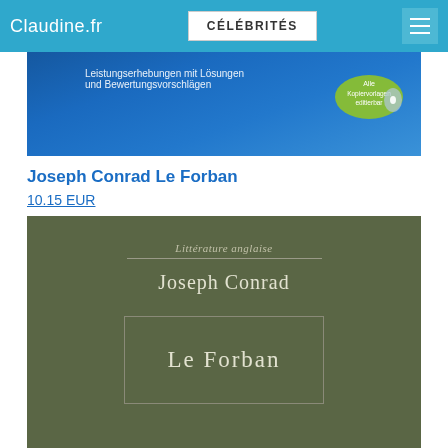Claudine.fr | CÉLÉBRITÉS
[Figure (photo): Top portion of a blue book cover with German text 'Leistungserhebungen mit Lösungen und Bewertungsvorschlägen' and a CD badge labeled 'Alle Kopiervorlagen editierbar']
Joseph Conrad Le Forban
10.15 EUR
[Figure (photo): Cover of the book 'Le Forban' by Joseph Conrad. Olive green cover with serif text: 'Littérature anglaise', a horizontal line, 'Joseph Conrad', a rectangular border box, and 'Le Forban' inside.]